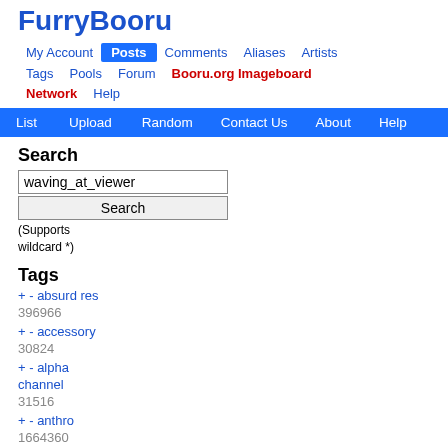FurryBooru
My Account | Posts | Comments | Aliases | Artists | Tags | Pools | Forum | Booru.org Imageboard | Network | Help
List | Upload | Random | Contact Us | About | Help
Search
waving_at_viewer
Search
(Supports wildcard *)
Tags
+ - absurd res 396966
+ - accessory 30824
+ - alpha channel 31516
+ - anthro 1664360
+ - black nose 131659
+ - bloominglynx